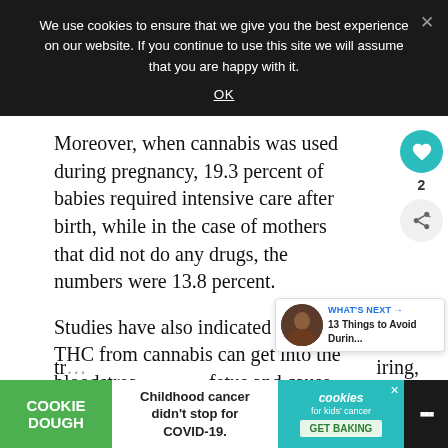We use cookies to ensure that we give you the best experience on our website. If you continue to use this site we will assume that you are happy with it.
OK
Moreover, when cannabis was used during pregnancy, 19.3 percent of babies required intensive care after birth, while in the case of mothers that did not do any drugs, the numbers were 13.8 percent.
Studies have also indicated that the THC from cannabis can get into the bloodstream of the fetus and cause several problems. Animal tr... p... of the